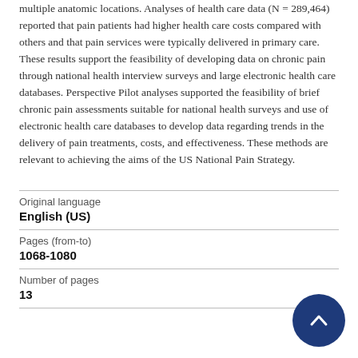multiple anatomic locations. Analyses of health care data (N = 289,464) reported that pain patients had higher health care costs compared with others and that pain services were typically delivered in primary care. These results support the feasibility of developing data on chronic pain through national health interview surveys and large electronic health care databases. Perspective Pilot analyses supported the feasibility of brief chronic pain assessments suitable for national health surveys and use of electronic health care databases to develop data regarding trends in the delivery of pain treatments, costs, and effectiveness. These methods are relevant to achieving the aims of the US National Pain Strategy.
| Field | Value |
| --- | --- |
| Original language | English (US) |
| Pages (from-to) | 1068-1080 |
| Number of pages | 13 |